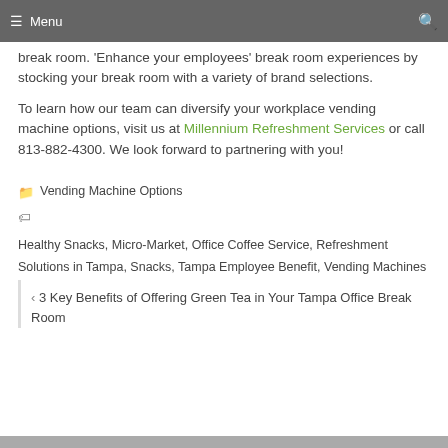☰ Menu  🔍
break room. 'Enhance your employees' break room experiences by stocking your break room with a variety of brand selections.
To learn how our team can diversify your workplace vending machine options, visit us at Millennium Refreshment Services or call 813-882-4300. We look forward to partnering with you!
Categories: Vending Machine Options
Tags: Healthy Snacks, Micro-Market, Office Coffee Service, Refreshment Solutions in Tampa, Snacks, Tampa Employee Benefit, Vending Machines
‹ 3 Key Benefits of Offering Green Tea in Your Tampa Office Break Room